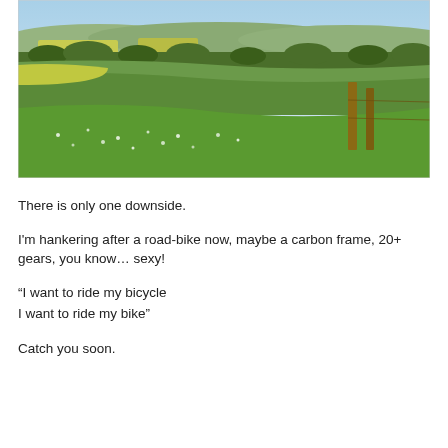[Figure (photo): Panoramic photograph of rolling green English countryside with hedgerows, fields, wildflowers, a wooden fence post, and a pale blue sky in the background.]
There is only one downside.
I'm hankering after a road-bike now, maybe a carbon frame, 20+ gears, you know… sexy!
“I want to ride my bicycle
I want to ride my bike”
Catch you soon.